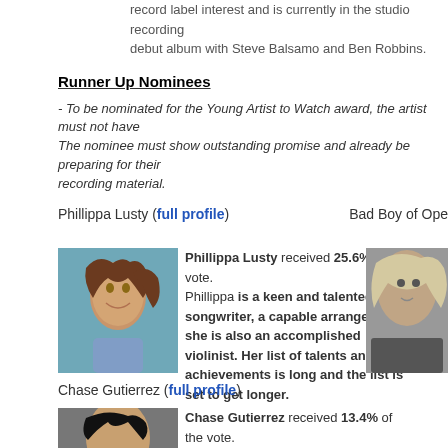record label interest and is currently in the studio recording her debut album with Steve Balsamo and Ben Robbins.
Runner Up Nominees
- To be nominated for the Young Artist to Watch award, the artist must not have... The nominee must show outstanding promise and already be preparing for their recording material.
Phillippa Lusty (full profile)
Bad Boy of Ope...
[Figure (photo): Photo of Phillippa Lusty]
Phillippa Lusty received 25.6% of the vote. Phillippa is a keen and talented songwriter, a capable arranger and she is also an accomplished violinist. Her list of talents and achievements is long and the list is set to get longer.
[Figure (photo): Photo of person with light hair]
Chase Gutierrez (full profile)
[Figure (photo): Photo of Chase Gutierrez]
Chase Gutierrez received 13.4% of the vote. At sixteen years of age, Chase's rich...